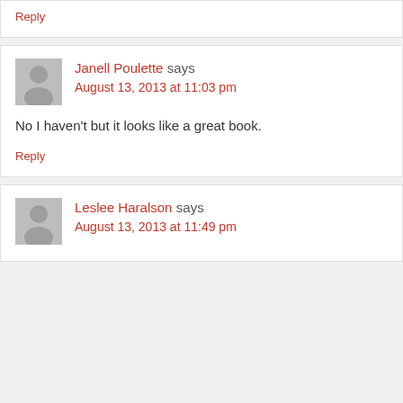Reply
Janell Poulette says
August 13, 2013 at 11:03 pm
No I haven't but it looks like a great book.
Reply
Leslee Haralson says
August 13, 2013 at 11:49 pm